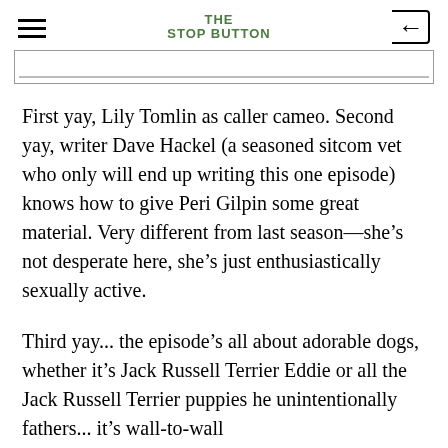THE STOP BUTTON
First yay, Lily Tomlin as caller cameo. Second yay, writer Dave Hackel (a seasoned sitcom vet who only will end up writing this one episode) knows how to give Peri Gilpin some great material. Very different from last season—she’s not desperate here, she’s just enthusiastically sexually active.
Third yay... the episode’s all about adorable dogs, whether it’s Jack Russell Terrier Eddie or all the Jack Russell Terrier puppies he unintentionally fathers... it’s wall-to-wall